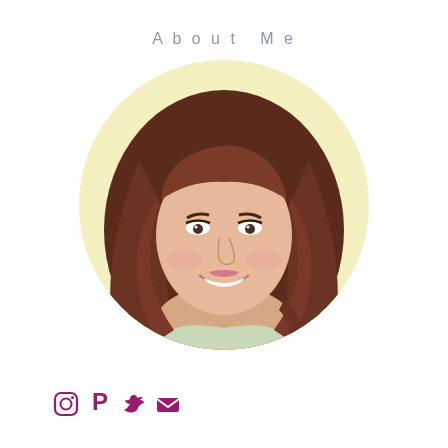About Me
[Figure (photo): Circular portrait photo of a young woman with long auburn/brown hair, smiling, against a warm cream/yellow background.]
[Figure (other): Social media icons: Instagram, Pinterest, Twitter, Email — in purple/magenta color]